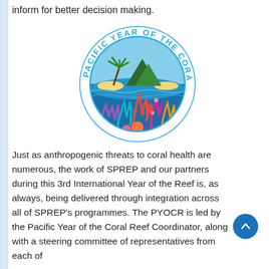inform for better decision making.
[Figure (logo): Pacific Year of the Coral Reef circular logo with text 'PACIFIC YEAR OF THE CORAL REEF' on top arc and 'HEALTHY REEF, HEALTHY PEOPLE' on bottom arc. Center shows a tropical scene with a palm tree on a sand island, mountains, ocean, and colorful coral reef underwater scene.]
Just as anthropogenic threats to coral health are numerous, the work of SPREP and our partners during this 3rd International Year of the Reef is, as always, being delivered through integration across all of SPREP's programmes. The PYOCR is led by the Pacific Year of the Coral Reef Coordinator, along with a steering committee of representatives from each of